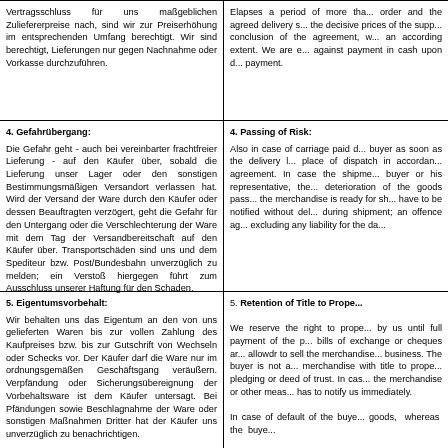Vertragsschluss für uns maßgeblichen Zuliefererpreise nach, sind wir zur Preiserhöhung im entsprechenden Umfang berechtigt. Wir sind berechtigt, Lieferungen nur gegen Nachnahme oder Vorkasse durchzuführen.
Elapses a period of more than... order and the agreed delivery... the decisive prices of the s... conclusion of the agreement,... an according extent. We are... against payment in cash up... payment.
4. Gefahrübergang:
Die Gefahr geht - auch bei vereinbarter frachtfreier Lieferung - auf den Käufer über, sobald die Lieferung unser Lager oder den sonstigen Bestimmungsmäßigen Versandort verlassen hat. Wird der Versand der Ware durch den Käufer oder dessen Beauftragten verzögert, geht die Gefahr für den Untergang oder die Verschlechterung der Ware mit dem Tag der Versandbereitschaft auf den Käufer über. Transportschäden sind uns und dem Spediteur bzw. Post/Bundesbahn unverzüglich zu melden; ein Verstoß hiergegen führt zum Ausschluss unserer Haftung für den Schaden.
4. Passing of Risk:
Also in case of carriage paid d... buyer as soon as the delivery... place of dispatch in accord... agreement. In case the shipm... buyer or his representative,... deterioration of the goods pas... the merchandise is ready for... have to be notified without d... during shipment; an offence... excluding any liability for the d...
5. Eigentumsvorbehalt:
Wir behalten uns das Eigentum an den von uns gelieferten Waren bis zur vollen Zahlung des Kaufpreises bzw. bis zur Gutschrift von Wechseln oder Schecks vor. Der Käufer darf die Ware nur im ordnungsgemäßen Geschäftsgang veräußern. Verpfändung oder Sicherungsübereignung der Vorbehaltsware ist dem Käufer untersagt. Bei Pfändungen sowie Beschlagnahme der Ware oder sonstigen Maßnahmen Dritter hat der Käufer uns unverzüglich zu benachrichtigen.
Bei Zahlungsverzug des Käufers sind wir zur Wegnahme der Ware berechtigt und der Käufer zur Herausgabe verpflichtet. Die
5. Retention of Title to Prope...
We reserve the right to prope... by us until full payment of the... bills of exchange or cheques... allowdr to sell the merchar... business. The buyer is n... merchandise with title to pro... pledging or deed of trust. In c... the merchandise or other me... has to notify us immediately.
In case of default of the bu... goods, whereas the buve...